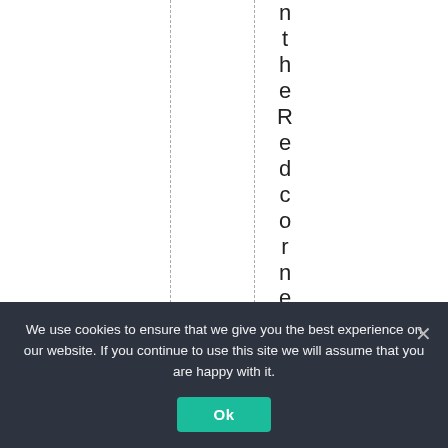ntheRedcornerwehave
We use cookies to ensure that we give you the best experience on our website. If you continue to use this site we will assume that you are happy with it.